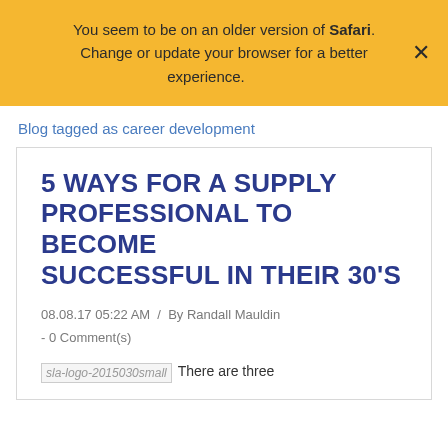You seem to be on an older version of Safari. Change or update your browser for a better experience.
Blog tagged as career development
5 WAYS FOR A SUPPLY PROFESSIONAL TO BECOME SUCCESSFUL IN THEIR 30'S
08.08.17 05:22 AM  /  By Randall Mauldin - 0 Comment(s)
There are three